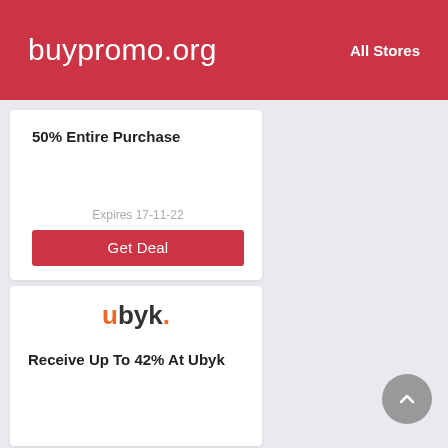buypromo.org   All Stores
50% Entire Purchase
Expires 17-11-22
Get Deal
[Figure (logo): ubyk. brand logo with orange 'u' and dark 'byk.' text]
Receive Up To 42% At Ubyk